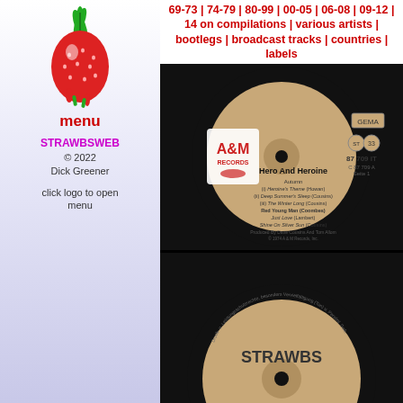69-73 | 74-79 | 80-99 | 00-05 | 06-08 | 09-12 | 14 on compilations | various artists | bootlegs | broadcast tracks | countries | labels
[Figure (photo): Strawberry logo - red strawberry with green top on white/purple background]
menu
STRAWBSWEB © 2022 Dick Greener
click logo to open menu
[Figure (photo): A&M Records vinyl label for Hero And Heroine by Strawbs, Side 1, 87 709 IT, GEMA, ST 33. Tracks: Autumn, (i) Heroine's Theme (Howan), (ii) Deep Summer's Sleep (Cousins), (iii) The Winter Long (Cousins), Red Young Man (Coombes), Just Love (Lambert), Shine On Silver Sun (Cousins). Produced by Dave Cousins And Tom Allom. 1974 A&M Records Inc.]
[Figure (photo): A&M Records vinyl label Side 2 showing STRAWBS, 87 709 IT, GEMA, ST 33]